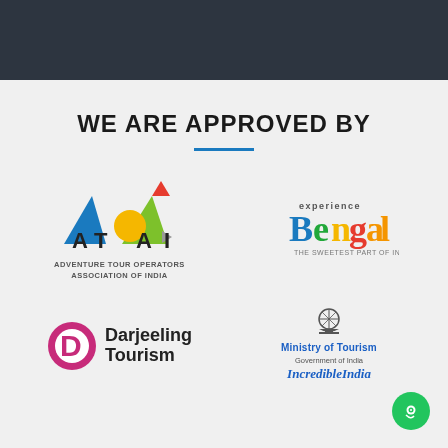[Figure (logo): Dark header bar at top]
WE ARE APPROVED BY
[Figure (logo): ATOAI - Adventure Tour Operators Association of India logo with triangles and circle shapes]
[Figure (logo): Experience Bengal - The Sweetest Part of India logo]
[Figure (logo): Darjeeling Tourism logo with D letter in circle]
[Figure (logo): Ministry of Tourism Government of India - Incredible India logo with Ashoka emblem]